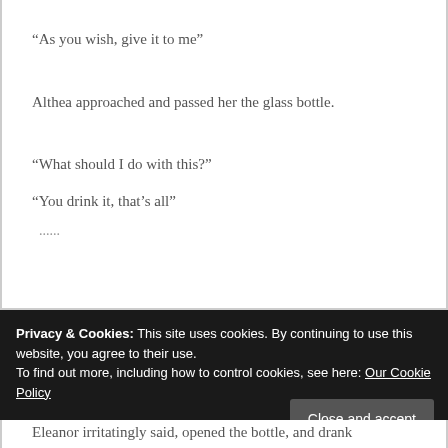“As you wish, give it to me”
Althea approached and passed her the glass bottle.
“What should I do with this?”
“You drink it, that’s all”
……
Privacy & Cookies: This site uses cookies. By continuing to use this website, you agree to their use.
To find out more, including how to control cookies, see here: Our Cookie Policy
Eleanor irritatingly said, opened the bottle, and drank